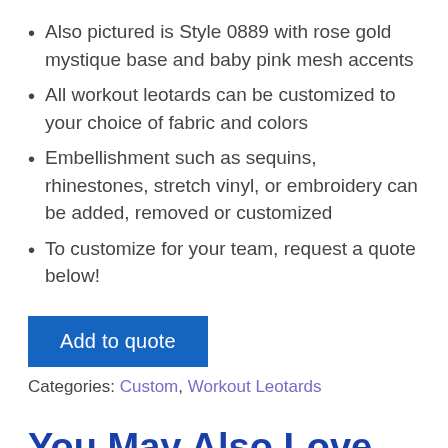Also pictured is Style 0889 with rose gold mystique base and baby pink mesh accents
All workout leotards can be customized to your choice of fabric and colors
Embellishment such as sequins, rhinestones, stretch vinyl, or embroidery can be added, removed or customized
To customize for your team, request a quote below!
Add to quote
Categories: Custom, Workout Leotards
You May Also Love
[Figure (photo): Partial preview image of a leotard product at the bottom of the page]